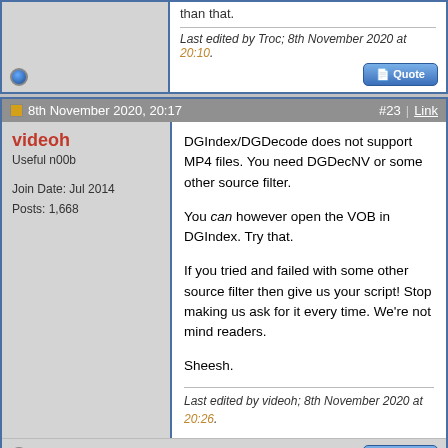than that.
Last edited by Troc; 8th November 2020 at 20:10.
8th November 2020, 20:17  #23  |  Link
videoh
Useful n00b

Join Date: Jul 2014
Posts: 1,668
DGIndex/DGDecode does not support MP4 files. You need DGDecNV or some other source filter.

You can however open the VOB in DGIndex. Try that.

If you tried and failed with some other source filter then give us your script! Stop making us ask for it every time. We're not mind readers.

Sheesh.
Last edited by videoh; 8th November 2020 at 20:26.
8th November 2020, 20:39  #24  |  Link
Troc
Registered User
Okay, here's the code: